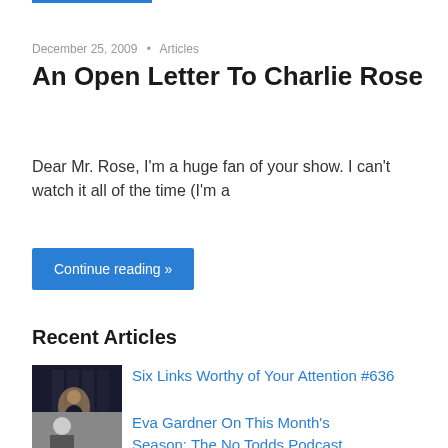December 25, 2009 • Articles
An Open Letter To Charlie Rose
Dear Mr. Rose, I'm a huge fan of your show. I can't watch it all of the time (I'm a
Continue reading »
Recent Articles
[Figure (photo): A dark moody photo of a person silhouetted in a room filled with bookshelves and light]
Six Links Worthy of Your Attention #636
[Figure (photo): A photo of a woman with short gray hair holding a guitar]
Eva Gardner On This Month's Season: The No Todds Podcast